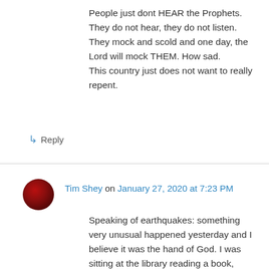People just dont HEAR the Prophets.
They do not hear, they do not listen.
They mock and scold and one day, the Lord will mock THEM. How sad.
This country just does not want to really repent.
↳ Reply
Tim Shey on January 27, 2020 at 7:23 PM
Speaking of earthquakes: something very unusual happened yesterday and I believe it was the hand of God. I was sitting at the library reading a book, when this complete stranger walked over to me and told me that Kobe Bryant, the former NBA basketball star, died in a helicopter crash.